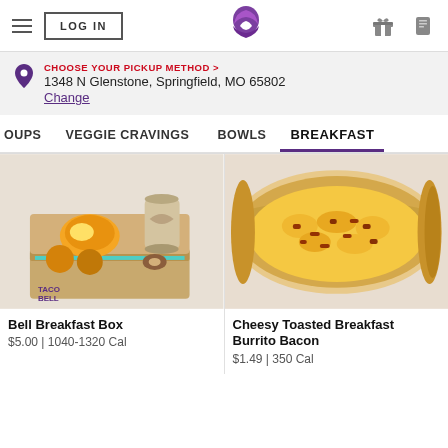LOG IN | Taco Bell Logo | Gift icon | Card icon
CHOOSE YOUR PICKUP METHOD >
1348 N Glenstone, Springfield, MO 65802
Change
OUPS   VEGGIE CRAVINGS   BOWLS   BREAKFAST
[Figure (photo): Bell Breakfast Box - a cardboard box containing breakfast items including a breakfast burrito, hash browns, and a coffee cup with donuts/pastries]
Bell Breakfast Box
$5.00 | 1040-1320 Cal
[Figure (photo): Cheesy Toasted Breakfast Burrito Bacon - a large burrito filled with eggs, cheese, and bacon pieces, shown in close-up]
Cheesy Toasted Breakfast Burrito Bacon
$1.49 | 350 Cal